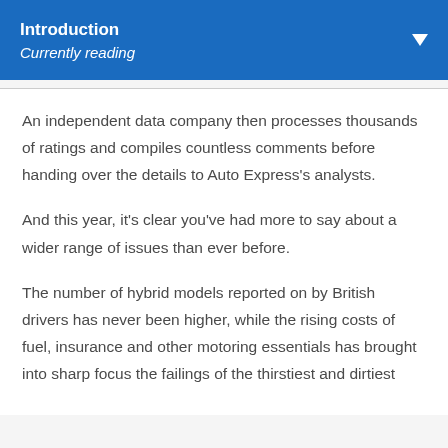Introduction
Currently reading
An independent data company then processes thousands of ratings and compiles countless comments before handing over the details to Auto Express's analysts.
And this year, it's clear you've had more to say about a wider range of issues than ever before.
The number of hybrid models reported on by British drivers has never been higher, while the rising costs of fuel, insurance and other motoring essentials has brought into sharp focus the failings of the thirstiest and dirtiest